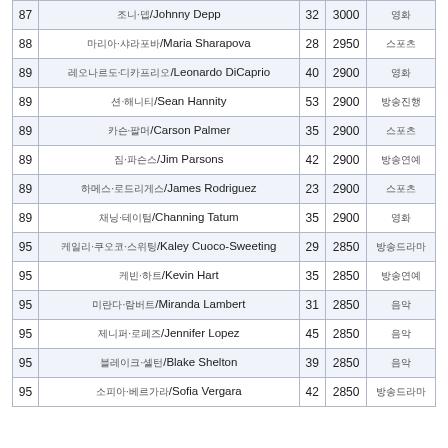| 순위 | 이름/Name | 나이 | 점수 | 분야 |
| --- | --- | --- | --- | --- |
| 87 | 조니·뎁/Johnny Depp | 32 | 3000 | 영화 |
| 88 | 마리아·샤라포바/Maria Sharapova | 28 | 2950 | 스포츠 |
| 89 | 레오나르도·디카프리오/Leonardo DiCaprio | 40 | 2900 | 영화 |
| 89 | 션·해니티/Sean Hannity | 53 | 2900 | 방송진행 |
| 89 | 카슨·팔머/Carson Palmer | 35 | 2900 | 스포츠 |
| 89 | 짐·파슨스/Jim Parsons | 42 | 2900 | 방송연예 |
| 89 | 하메스·로드리게스/James Rodriguez | 23 | 2900 | 스포츠 |
| 89 | 채닝·테이텀/Channing Tatum | 35 | 2900 | 영화 |
| 95 | 케일리·쿠오코·스위팅/Kaley Cuoco-Sweeting | 29 | 2850 | 방송드라마 |
| 95 | 케빈·하트/Kevin Hart | 35 | 2850 | 방송연예 |
| 95 | 미란다·람버트/Miranda Lambert | 31 | 2850 | 음악 |
| 95 | 제니퍼·로페즈/Jennifer Lopez | 45 | 2850 | 음악 |
| 95 | 블레이크·셸턴/Blake Shelton | 39 | 2850 | 음악 |
| 95 | 소피아·베르가라/Sofia Vergara | 42 | 2850 | 방송드라마 |